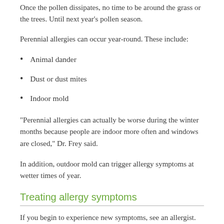Once the pollen dissipates, no time to be around the grass or the trees. Until next year’s pollen season.
Perennial allergies can occur year-round. These include:
Animal dander
Dust or dust mites
Indoor mold
“Perennial allergies can actually be worse during the winter months because people are indoor more often and windows are closed,” Dr. Frey said.
In addition, outdoor mold can trigger allergy symptoms at wetter times of year.
Treating allergy symptoms
If you begin to experience new symptoms, see an allergist. The allergist can test to pinpoint the kinds of allergies affecting you, and strategize the best treatment plan.